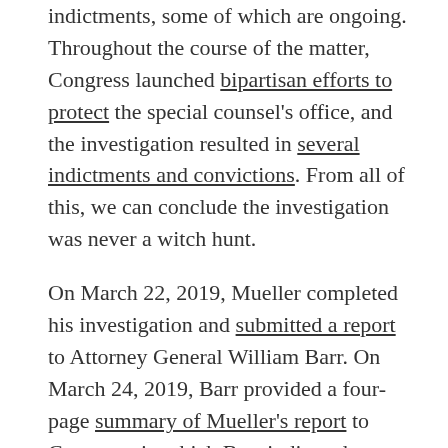indictments, some of which are ongoing. Throughout the course of the matter, Congress launched bipartisan efforts to protect the special counsel's office, and the investigation resulted in several indictments and convictions. From all of this, we can conclude the investigation was never a witch hunt.
On March 22, 2019, Mueller completed his investigation and submitted a report to Attorney General William Barr. On March 24, 2019, Barr provided a four-page summary of Mueller's report to Congress, in which Barr indicated Mueller did not find that anyone associated with the Trump campaign conspired or coordinated, i.e., agreed, with the